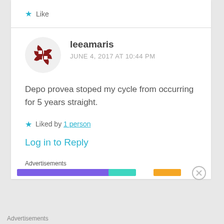★ Like
leeamaris
JUNE 4, 2017 AT 10:44 PM
Depo provea stoped my cycle from occurring for 5 years straight.
★ Liked by 1 person
Log in to Reply
Advertisements
Advertisements